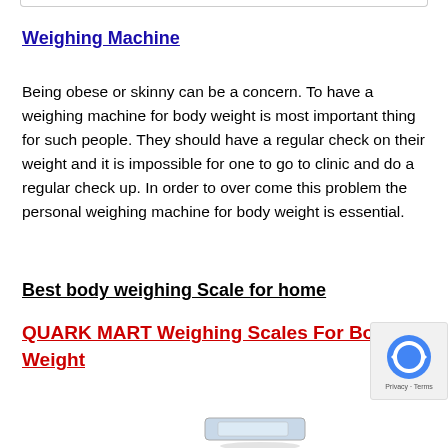Weighing Machine
Being obese or skinny can be a concern. To have a weighing machine for body weight is most important thing for such people. They should have a regular check on their weight and it is impossible for one to go to clinic and do a regular check up. In order to over come this problem the personal weighing machine for body weight is essential.
Best body weighing Scale for home
QUARK MART Weighing Scales For Body Weight
[Figure (other): reCAPTCHA badge with blue recycling-style icon and Privacy - Terms text]
[Figure (photo): Partial product image of a weighing scale at the bottom of the page]